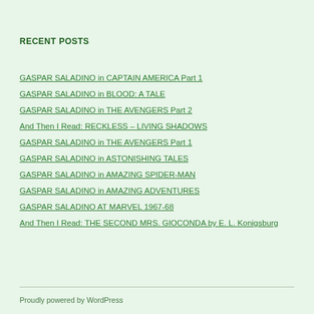RECENT POSTS
GASPAR SALADINO in CAPTAIN AMERICA Part 1
GASPAR SALADINO in BLOOD: A TALE
GASPAR SALADINO in THE AVENGERS Part 2
And Then I Read: RECKLESS – LIVING SHADOWS
GASPAR SALADINO in THE AVENGERS Part 1
GASPAR SALADINO in ASTONISHING TALES
GASPAR SALADINO in AMAZING SPIDER-MAN
GASPAR SALADINO in AMAZING ADVENTURES
GASPAR SALADINO AT MARVEL 1967-68
And Then I Read: THE SECOND MRS. GIOCONDA by E. L. Konigsburg
Proudly powered by WordPress